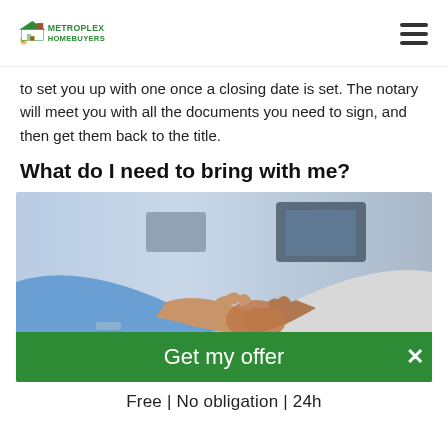METROPLEX HOMEBUYERS
to set you up with one once a closing date is set. The notary will meet you with all the documents you need to sign, and then get them back to the title.
What do I need to bring with me?
[Figure (photo): Two people shaking hands in a business setting, with a green 'Get my offer' button overlay and an X close button.]
Free | No obligation | 24h